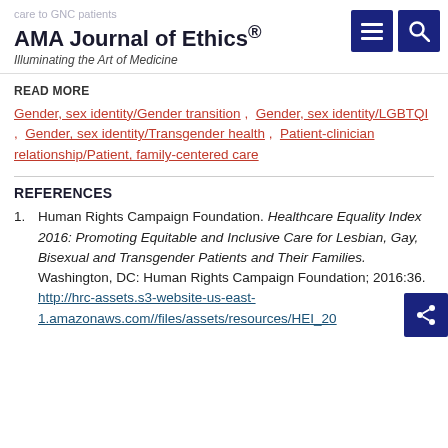care to GNC patients
AMA Journal of Ethics®
Illuminating the Art of Medicine
READ MORE
Gender, sex identity/Gender transition , Gender, sex identity/LGBTQI , Gender, sex identity/Transgender health , Patient-clinician relationship/Patient, family-centered care
REFERENCES
1. Human Rights Campaign Foundation. Healthcare Equality Index 2016: Promoting Equitable and Inclusive Care for Lesbian, Gay, Bisexual and Transgender Patients and Their Families. Washington, DC: Human Rights Campaign Foundation; 2016:36. http://hrc-assets.s3-website-us-east-1.amazonaws.com//files/assets/resources/HEI_20